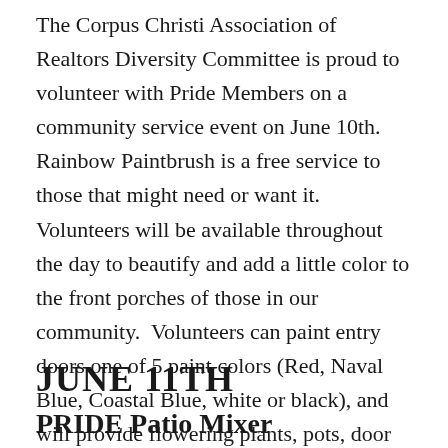The Corpus Christi Association of Realtors Diversity Committee is proud to volunteer with Pride Members on a community service event on June 10th. Rainbow Paintbrush is a free service to those that might need or want it. Volunteers will be available throughout the day to beautify and add a little color to the front porches of those in our community.  Volunteers can paint entry doors one of 5 paint colors (Red, Naval Blue, Coastal Blue, white or black), and will provide flowering plants, pots, door mats or other items to improve curb appeal. Email rainbowpaintbrush361@gmail.com for more details, and to volunteer or sign a home up for the event.
JUNE 11TH
PRIDE Patio Mixer